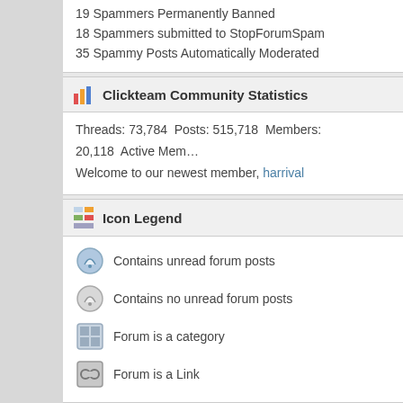19 Spammers Permanently Banned
18 Spammers submitted to StopForumSpam
35 Spammy Posts Automatically Moderated
Clickteam Community Statistics
Threads: 73,784  Posts: 515,718  Members: 20,118  Active Mem…
Welcome to our newest member, harrival
Icon Legend
Contains unread forum posts
Contains no unread forum posts
Forum is a category
Forum is a Link
[Figure (other): Double chevron right arrow icon for quick links]
Site Links
Home Page
Online Store
Tutorials
Download Center
Clickstore
Graphics, templates and more for Fusion